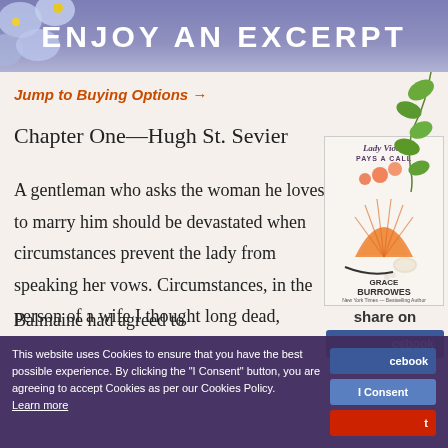[Figure (illustration): Header banner with purple/blue gradient background, flowers (blue forget-me-nots and yellow flowers) on the left, reading ENJOY AN EXCERPT in large white letters]
Jump to Buying Options →
Chapter One—Hugh St. Sevier
A gentleman who asks the woman he loves to marry him should be devastated when circumstances prevent the lady from speaking her vows. Circumstances, in the person of a wife I thought long dead,
[Figure (photo): Book cover for 'Lady Violet Pays a Call' by Grace Burrowes, New York Times Bestselling Author. Shows orange fan, flowers, jewelry box on white background.]
share on
Balmaine had agreed to
This website uses Cookies to ensure that you have the best possible experience. By clicking the "I Consent" button, you are agreeing to accept Cookies as per our Cookies Policy. Learn more